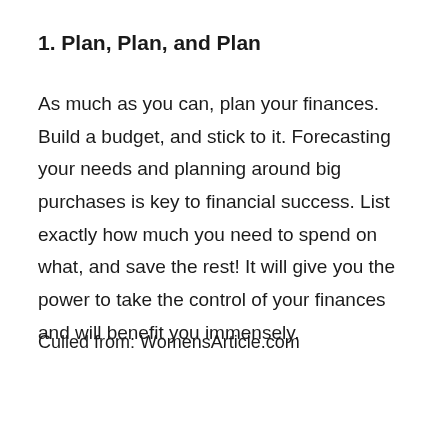1. Plan, Plan, and Plan
As much as you can, plan your finances. Build a budget, and stick to it. Forecasting your needs and planning around big purchases is key to financial success. List exactly how much you need to spend on what, and save the rest! It will give you the power to take the control of your finances and will benefit you immensely.
Culled from: WomensArticle.com